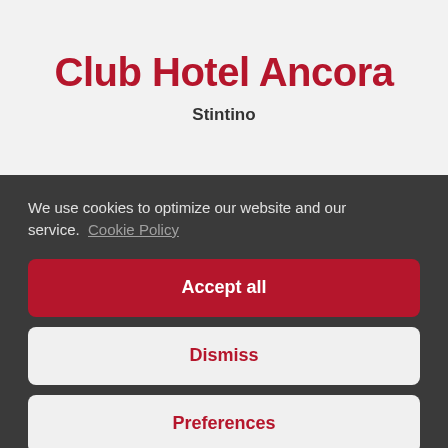Club Hotel Ancora
Stintino
We use cookies to optimize our website and our service. Cookie Policy
Accept all
Dismiss
Preferences